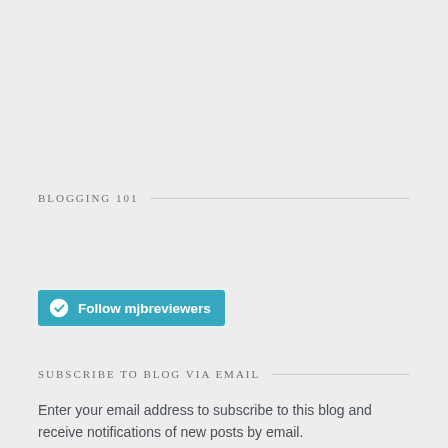BLOGGING 101
[Figure (other): WordPress Follow button with text 'Follow mjbreviewers' on teal/cyan background]
SUBSCRIBE TO BLOG VIA EMAIL
Enter your email address to subscribe to this blog and receive notifications of new posts by email.